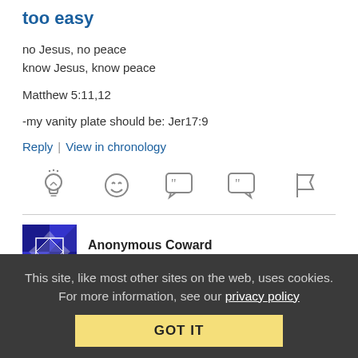too easy
no Jesus, no peace
know Jesus, know peace
Matthew 5:11,12
-my vanity plate should be: Jer17:9
Reply | View in chronology
[Figure (other): Row of 5 icon buttons: lightbulb, laughing emoji, left-quote speech bubble, right-quote speech bubble, flag]
Anonymous Coward    December 5, 2019 at 6:43 am
This site, like most other sites on the web, uses cookies. For more information, see our privacy policy
GOT IT